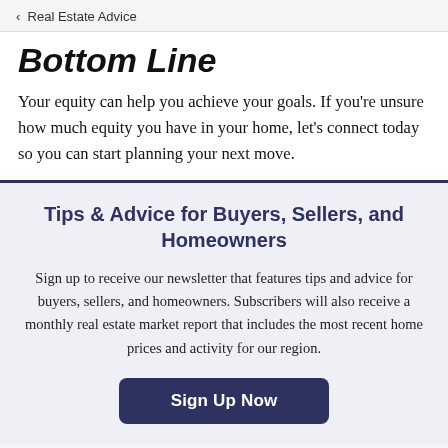< Real Estate Advice
Bottom Line
Your equity can help you achieve your goals. If you're unsure how much equity you have in your home, let's connect today so you can start planning your next move.
Tips & Advice for Buyers, Sellers, and Homeowners
Sign up to receive our newsletter that features tips and advice for buyers, sellers, and homeowners. Subscribers will also receive a monthly real estate market report that includes the most recent home prices and activity for our region.
Sign Up Now